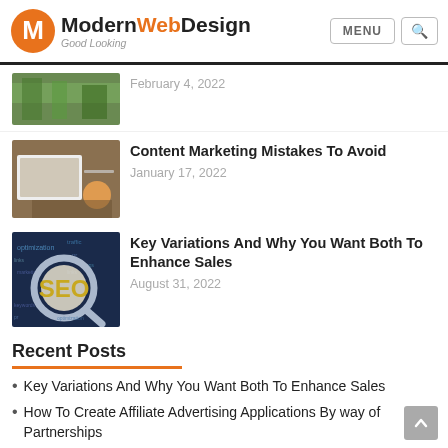ModernWebDesign – Good Looking | MENU | Search
[Figure (photo): Partial article thumbnail (vegetables/greens) with date February 4, 2022]
February 4, 2022
[Figure (photo): Laptop on a desk with mouse and orange cup thumbnail image]
Content Marketing Mistakes To Avoid
January 17, 2022
[Figure (photo): SEO magnifying glass word cloud thumbnail image]
Key Variations And Why You Want Both To Enhance Sales
August 31, 2022
Recent Posts
Key Variations And Why You Want Both To Enhance Sales
How To Create Affiliate Advertising Applications By way of Partnerships